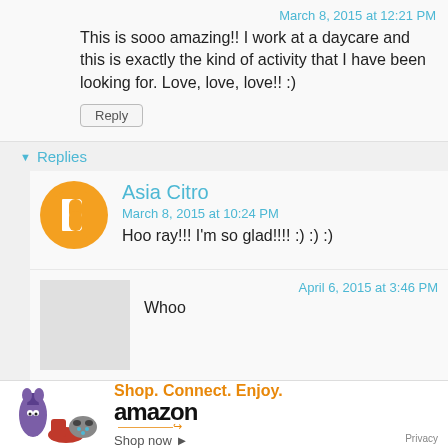March 8, 2015 at 12:21 PM
This is sooo amazing!! I work at a daycare and this is exactly the kind of activity that I have been looking for. Love, love, love!! :)
Reply
Replies
[Figure (logo): Blogger orange circle avatar with B icon]
Asia Citro
March 8, 2015 at 10:24 PM
Hoo ray!!! I'm so glad!!!! :) :) :)
[Figure (photo): Grey square avatar placeholder]
April 6, 2015 at 3:46 PM
Whoo
[Figure (infographic): Amazon advertisement bar: Shop. Connect. Enjoy. Shop now. Privacy]